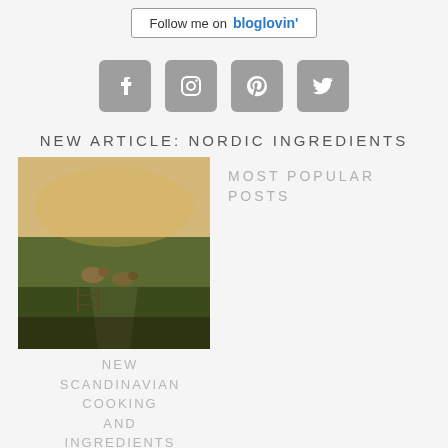[Figure (screenshot): Follow me on Bloglovin button]
[Figure (infographic): Social media icons: Facebook, Instagram, Pinterest, Twitter]
NEW ARTICLE: NORDIC INGREDIENTS
[Figure (photo): Photo of ducks/geese on a rural landscape]
MOST POPULAR POSTS
NEW SCANDINAVIAN COOKING AND INGREDIENTS
[Figure (photo): Food photo with fork, partially visible]
C an dy